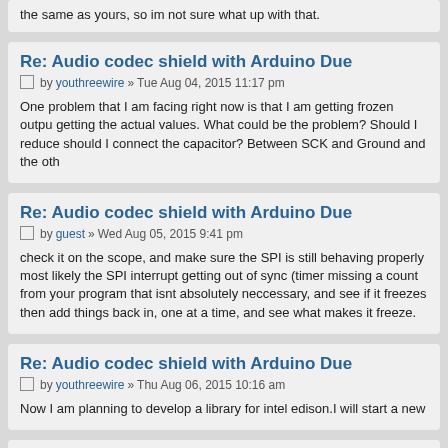the same as yours, so im not sure what up with that.
Re: Audio codec shield with Arduino Due
by youthreewire » Tue Aug 04, 2015 11:17 pm
One problem that I am facing right now is that I am getting frozen output getting the actual values. What could be the problem? Should I reduce should I connect the capacitor? Between SCK and Ground and the oth
Re: Audio codec shield with Arduino Due
by guest » Wed Aug 05, 2015 9:41 pm
check it on the scope, and make sure the SPI is still behaving properly most likely the SPI interrupt getting out of sync (timer missing a count from your program that isnt absolutely neccessary, and see if it freezes then add things back in, one at a time, and see what makes it freeze.
Re: Audio codec shield with Arduino Due
by youthreewire » Thu Aug 06, 2015 10:16 am
Now I am planning to develop a library for intel edison.I will start a new
Re: [SOLVED]Audio codec shield with Arduino Due